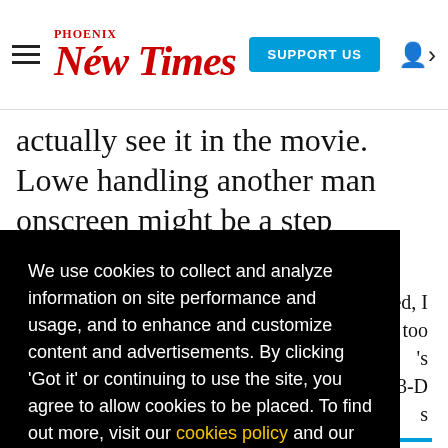Phoenix New Times | SUPPORT US
actually see it in the movie. Lowe handling another man onscreen might be a step forward
aced, I r too 's m 3-D s
We use cookies to collect and analyze information on site performance and usage, and to enhance and customize content and advertisements. By clicking 'Got it' or continuing to use the site, you agree to allow cookies to be placed. To find out more, visit our cookies policy and our privacy policy.
Got it!
as like , it's
behind funding our local journalism. You can help